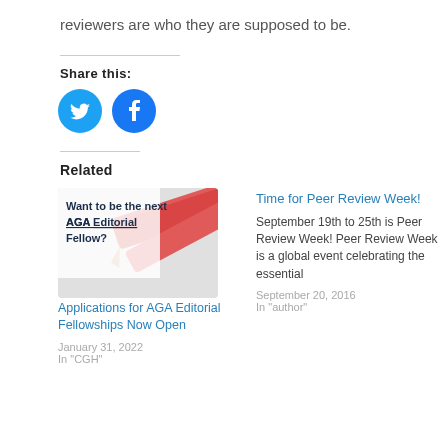reviewers are who they are supposed to be.
Share this:
[Figure (illustration): Twitter and Facebook social share icon buttons (blue circles with white bird and 'f' logos)]
Related
[Figure (photo): Image with bold text 'Want to be the next AGA Editorial Fellow?' with red pencils in background]
Applications for AGA Editorial Fellowships Now Open
January 31, 2022
In "CGH"
Time for Peer Review Week!
September 19th to 25th is Peer Review Week! Peer Review Week is a global event celebrating the essential
September 20, 2016
In "author"